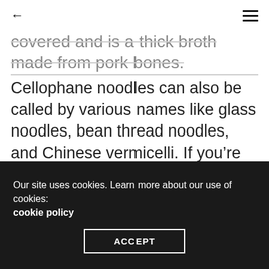← ≡
covered and is a thick broth made from pork bones. Cellophane noodles can also be called by various names like glass noodles, bean thread noodles, and Chinese vermicelli. If you're celiac, be sure to look for 100% buckwheat noodles, which are one of the only Japanese noodles you may be able to eat. Soba noodles are made from buckwheat flour or a mixture of buckwheat flour and wheat flour in equal parts. Go! Please specify where you learned about Go! The flavor is lighter as well and the soup generally uses straight noodles rather than curly
Our site uses cookies. Learn more about our use of cookies: cookie policy
ACCEPT